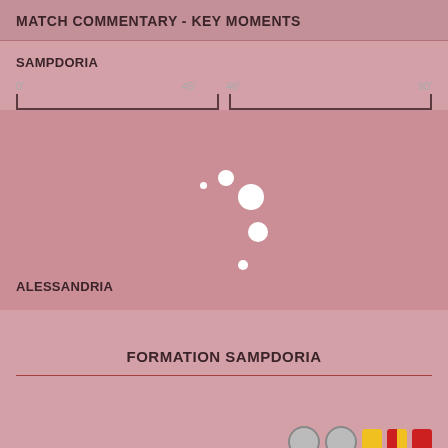MATCH COMMENTARY - KEY MOMENTS
SAMPDORIA
[Figure (infographic): Match timeline showing two halves (0'-45' and 46'-90') with event circles plotted in the Alessandria team zone around the 45-46 minute mark. Four white circles of varying sizes are positioned in the center-right of the events area.]
ALESSANDRIA
FORMATION SAMPDORIA